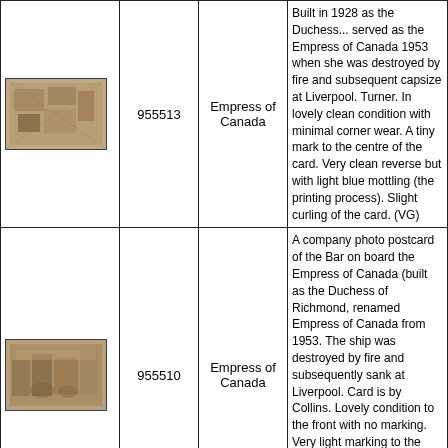[Figure (photo): Sepia photo postcard of interior cabin/lounge of the Empress of Canada ship, item 955513]
| Image | ID | Name | Description |
| --- | --- | --- | --- |
| [photo] | 955513 | Empress of Canada | Built in 1928 as the Duchess... served as the Empress of Canada 1953 when she was destroyed by fire and subsequent capsize at Liverpool. Turner. In lovely clean condition with minimal corner wear. A tiny mark to the centre of the card. Very clean reverse but with light blue mottling (the printing process). Slight curling of the card. (VG) |
| [photo] | 955510 | Empress of Canada | A company photo postcard of the Bar on board the Empress of Canada (built as the Duchess of Richmond, renamed Empress of Canada from 1953. The ship was destroyed by fire and subsequently sank at Liverpool. Card is by Collins. Lovely condition to the front with no marking. Very light marking to the reverse, light mottling (a side effect of the printing). Slight curling of the edges of the card. |
| [photo] | 1063302 | Empress of Canada(?) | A lightly tinted photo postcard of an Empress steamer passing through Vancouver. I think the vessel is the Empress of Canada of 1922. Card is by Sutton of Vancouver. Light surface wear. Very light surface marking to the front. A surface impression line top right. Light surface impression from a stamp. Very light marking / ageing to the reverse. |